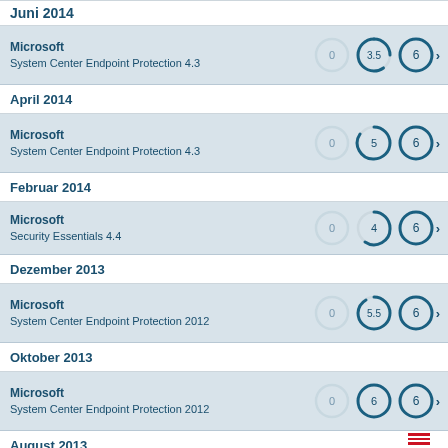Juni 2014
Microsoft System Center Endpoint Protection 4.3 | 0 | 3.5 | 6
April 2014
Microsoft System Center Endpoint Protection 4.3 | 0 | 5 | 6
Februar 2014
Microsoft Security Essentials 4.4 | 0 | 4 | 6
Dezember 2013
Microsoft System Center Endpoint Protection 2012 | 0 | 5.5 | 6
Oktober 2013
Microsoft System Center Endpoint Protection 2012 | 0 | 6 | 6
August 2013